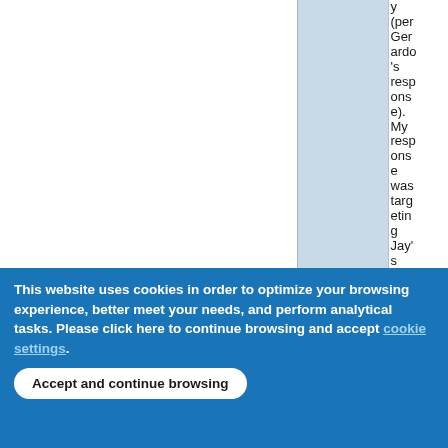|  |  | y (per Gerardo's response). My response was targeting Jay's question, ie the app |
This website uses cookies in order to optimize your browsing experience, better meet your needs, and perform analytical tasks. Please click here to continue browsing and accept cookie settings.
Accept and continue browsing